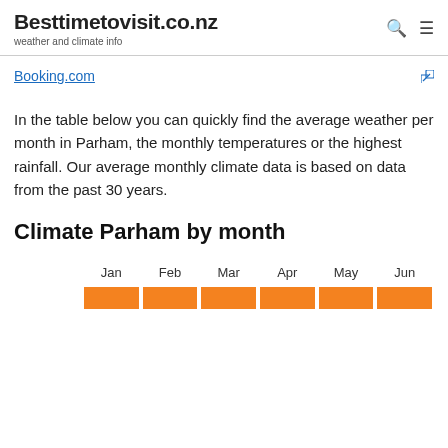Besttimetovisit.co.nz — weather and climate info
Booking.com
In the table below you can quickly find the average weather per month in Parham, the monthly temperatures or the highest rainfall. Our average monthly climate data is based on data from the past 30 years.
Climate Parham by month
|  | Jan | Feb | Mar | Apr | May | Jun |
| --- | --- | --- | --- | --- | --- | --- |
|  |  |  |  |  |  |  |